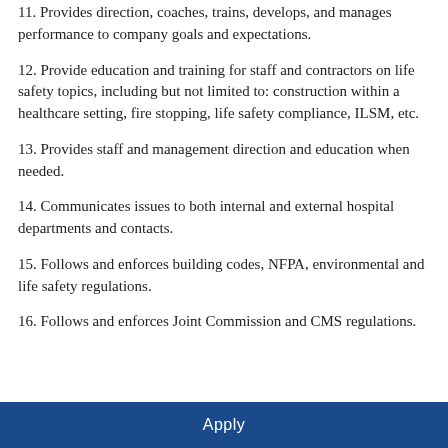11. Provides direction, coaches, trains, develops, and manages performance to company goals and expectations.
12. Provide education and training for staff and contractors on life safety topics, including but not limited to: construction within a healthcare setting, fire stopping, life safety compliance, ILSM, etc.
13. Provides staff and management direction and education when needed.
14. Communicates issues to both internal and external hospital departments and contacts.
15. Follows and enforces building codes, NFPA, environmental and life safety regulations.
16. Follows and enforces Joint Commission and CMS regulations.